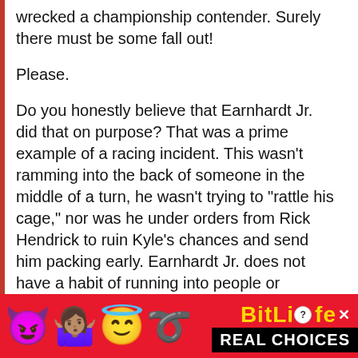wrecked a championship contender. Surely there must be some fall out!
Please.
Do you honestly believe that Earnhardt Jr. did that on purpose? That was a prime example of a racing incident. This wasn't ramming into the back of someone in the middle of a turn, he wasn't trying to “rattle his cage,” nor was he under orders from Rick Hendrick to ruin Kyle’s chances and send him packing early. Earnhardt Jr. does not have a habit of running into people or wrecking them intentionally, least of all his
[Figure (infographic): BitLife advertisement banner with red background, emoji characters (devil, woman shrugging, angel, sperm), BitLife logo in yellow text, close and info buttons, and 'REAL CHOICES' text in white on black background.]